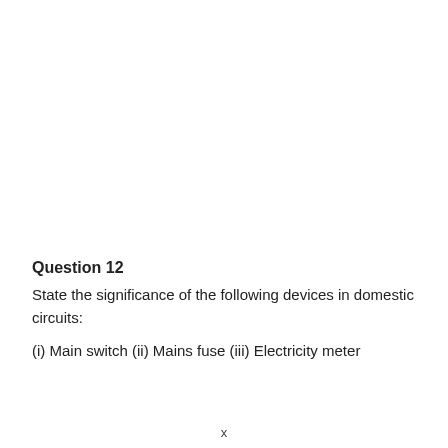Question 12
State the significance of the following devices in domestic circuits:
(i) Main switch (ii) Mains fuse (iii) Electricity meter
x